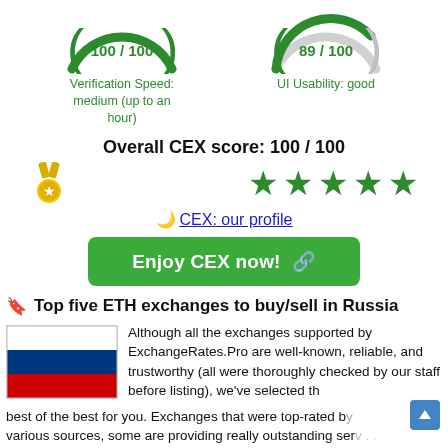[Figure (infographic): Two gauge/dial charts side by side. Left gauge shows 100/100 in green with label 'Verification Speed: medium (up to an hour)'. Right gauge shows 89/100 in green/gray with label 'UI Usability: good'.]
Overall CEX score: 100 / 100
[Figure (infographic): Gold medal icon on left, five green stars on right]
🌙 CEX: our profile
Enjoy CEX now! 🔗
Top five ETH exchanges to buy/sell in Russia
[Figure (illustration): Russian flag - horizontal tricolor: white, blue, red]
Although all the exchanges supported by ExchangeRates.Pro are well-known, reliable, and trustworthy (all were thoroughly checked by our staff before listing), we've selected the best of the best for you. Exchanges that were top-rated by various sources, some are providing really outstanding service you'd love and remember. We (staff and the software)